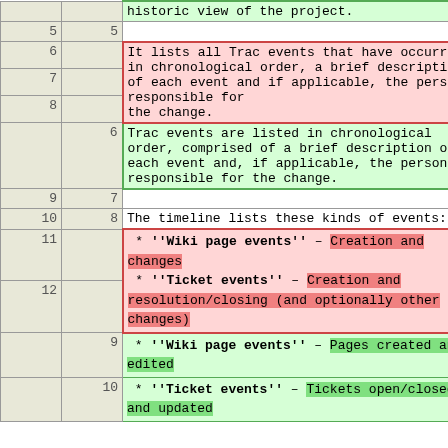| col_a | col_b | content |
| --- | --- | --- |
|  |  | historic view of the project. |
| 5 | 5 |  |
| 6 |  | It lists all Trac events that have occurred in chronological order, a brief description of each event and if applicable, the person responsible for |
| 7 |  |  |
| 8 |  | the change. |
|  | 6 | Trac events are listed in chronological order, comprised of a brief description of each event and, if applicable, the person responsible for the change. |
| 9 | 7 |  |
| 10 | 8 | The timeline lists these kinds of events: |
| 11 |  |  * '''Wiki page events''' – Creation and changes
 * '''Ticket events''' – Creation and resolution/closing (and optionally other changes) |
| 12 |  |  |
|  | 9 |  * '''Wiki page events''' – Pages created and edited |
|  | 10 |  * '''Ticket events''' – Tickets open/closed and updated |